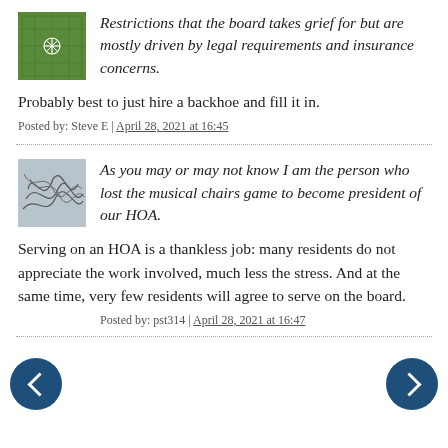[Figure (illustration): Green decorative avatar image with geometric pattern]
Restrictions that the board takes grief for but are mostly driven by legal requirements and insurance concerns.
Probably best to just hire a backhoe and fill it in.
Posted by: Steve E | April 28, 2021 at 16:45
[Figure (illustration): Gray avatar image with abstract line scribble pattern]
As you may or may not know I am the person who lost the musical chairs game to become president of our HOA.
Serving on an HOA is a thankless job: many residents do not appreciate the work involved, much less the stress. And at the same time, very few residents will agree to serve on the board.
Posted by: pst314 | April 28, 2021 at 16:47